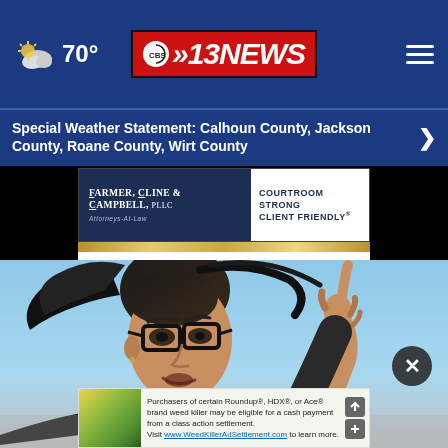70° CBS 13NEWS
Special Weather Statement: Calhoun County, Jackson County, Roane County, Wirt County
[Figure (advertisement): Farmer, Cline & Campbell, PLLC Attorneys-At-Law advertisement. Courtroom Strong Client Friendly.]
[Figure (photo): Woman with dark hair and glasses pointing one finger upward, speaking passionately outdoors against a blue sky background.]
[Figure (advertisement): Roundup, HDX, Ace brand weed killer class action settlement advertisement. Visit www.WeedKillerAdSettlement.com to learn more.]